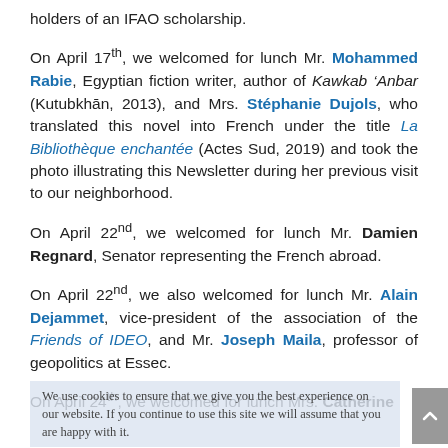holders of an IFAO scholarship.
On April 17th, we welcomed for lunch Mr. Mohammed Rabie, Egyptian fiction writer, author of Kawkab ‘Anbar (Kutubkhān, 2013), and Mrs. Stéphanie Dujols, who translated this novel into French under the title La Bibliothèque enchantée (Actes Sud, 2019) and took the photo illustrating this Newsletter during her previous visit to our neighborhood.
On April 22nd, we welcomed for lunch Mr. Damien Regnard, Senator representing the French abroad.
On April 22nd, we also welcomed for lunch Mr. Alain Dejammet, vice-president of the association of the Friends of IDEO, and Mr. Joseph Maila, professor of geopolitics at Essec.
On April 24th, we welcomed for lunch Mrs. Catherine